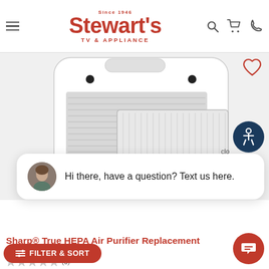Stewart's TV & Appliance — Since 1946
[Figure (photo): Air purifier product photo showing white cylindrical air purifier with HEPA filter panel removed/displayed in front]
Hi there, have a question? Text us here.
Sharp® True HEPA Air Purifier Replacement
FILTER & SORT
(0)